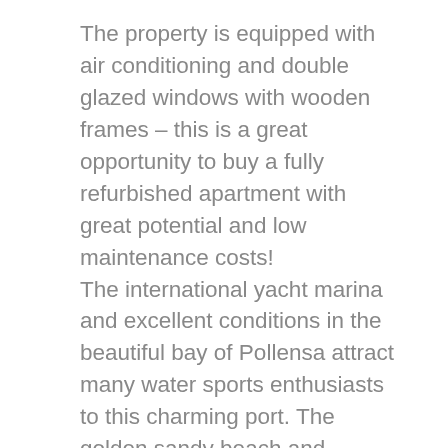The property is equipped with air conditioning and double glazed windows with wooden frames – this is a great opportunity to buy a fully refurbished apartment with great potential and low maintenance costs!
The international yacht marina and excellent conditions in the beautiful bay of Pollensa attract many water sports enthusiasts to this charming port. The golden sandy beach and shallow waters leading off the beach into the sea are guarantees for wonderful family vacations. Numerous exquisite restaurants and trendy cafés along the promenade or on the main square in the town centre are waiting to spoil their clients. Puerto Pollensa is the holiday resort with a traditional ambience for families and people who want to enjoy a relaxed and laid-back vacation.